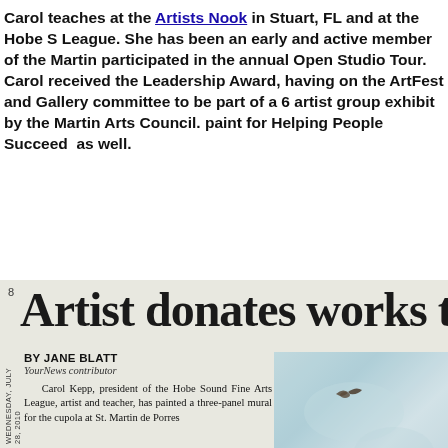Carol teaches at the Artists Nook in Stuart, FL and at the Hobe S League. She has been an early and active member of the Martin participated in the annual Open Studio Tour. Carol received the Leadership Award, having on the ArtFest and Gallery committee to be part of a 6 artist group exhibit by the Martin Arts Council. paint for Helping People Succeed as well.
[Figure (photo): Newspaper clipping from Wednesday, July 28, 2010. Headline reads 'Artist donates works to' with page number 8. Byline: BY JANE BLATT, YourNews contributor. Article text begins: 'Carol Kepp, president of the Hobe Sound Fine Arts League, artist and teacher, has painted a three-panel mural for the cupola at St. Martin de Porres'. A photo of what appears to be birds or swimmers is partially visible on the right side.]